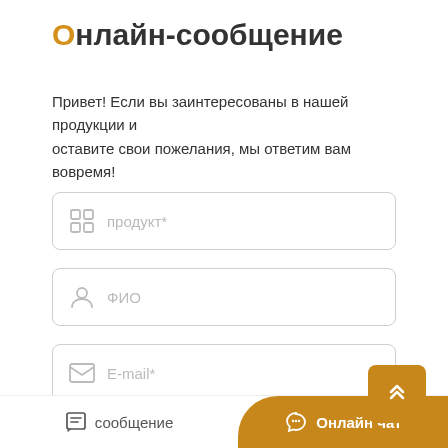Онлайн-сообщение
Привет! Если вы заинтересованы в нашей продукции и оставите свои пожелания, мы ответим вам вовремя!
продукт*
ФИО
E-mail*
телефон*
сообщение
Онлайн чат